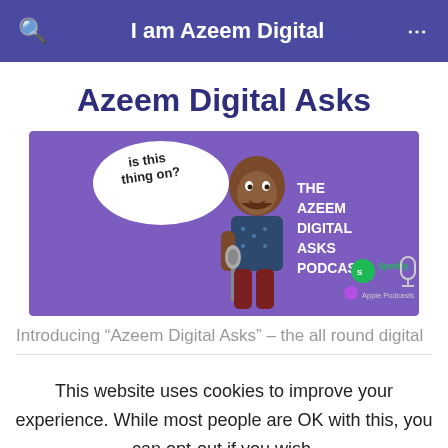I am Azeem Digital
Azeem Digital Asks
[Figure (illustration): The Azeem Digital Asks Podcast banner — purple background, cartoon person at microphone with speech bubble saying 'is this thing on?', text 'THE AZEEM DIGITAL ASKS PODCAST', Spotify and Apple Podcasts logos]
Introducing “Azeem Digital Asks” – the all round digital
This website uses cookies to improve your experience. While most people are OK with this, you can opt-out if you wish.
Cookie settings   ACCEPT